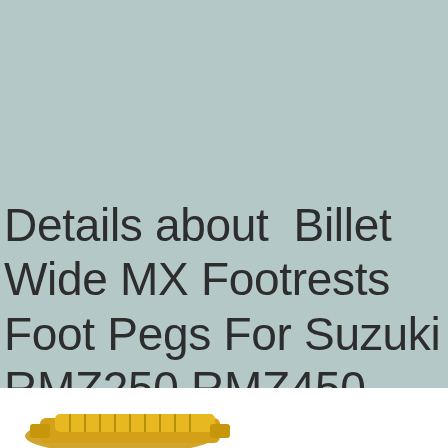Details about  Billet Wide MX Footrests Foot Pegs For Suzuki RMZ250 RMZ450 2010-2017 2018 Black
[Figure (photo): Partial view of gold/yellow colored billet metal footrest/foot peg product at the bottom of the page]
[Figure (screenshot): Soporte (support) button with grey background and orange circular chat icon with headset symbol overlay]